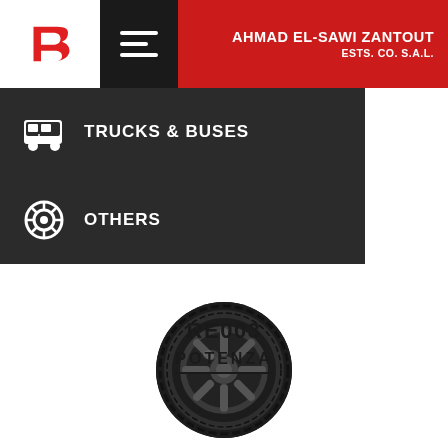AHMAD EL-SAWI ZANTOUT ESTS. CO. S.A.L.
TRUCKS & BUSES
OTHERS
[Figure (photo): Bridgestone Potenza RE003 tire product image]
RE003
POTENZA